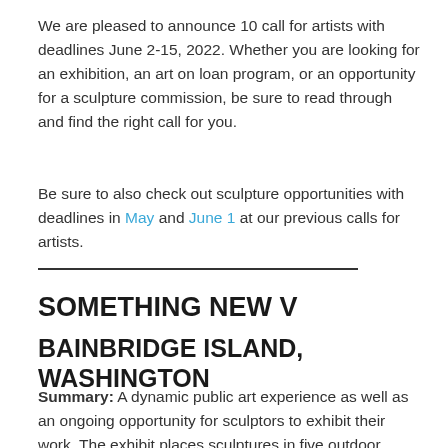We are pleased to announce 10 call for artists with deadlines June 2-15, 2022. Whether you are looking for an exhibition, an art on loan program, or an opportunity for a sculpture commission, be sure to read through and find the right call for you.
Be sure to also check out sculpture opportunities with deadlines in May and June 1 at our previous calls for artists.
SOMETHING NEW V
BAINBRIDGE ISLAND, WASHINGTON
Summary: A dynamic public art experience as well as an ongoing opportunity for sculptors to exhibit their work. The exhibit places sculptures in five outdoor locations in downtown Winslow on beautiful Bainbridge Island. elected works remain